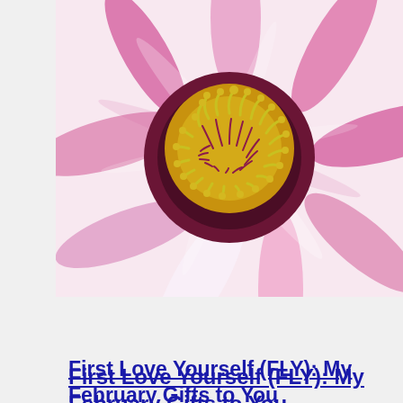[Figure (photo): Close-up macro photograph of a pink and white flower with yellow-green stamens and a dark purple center, with a purple banner overlay at the bottom showing partial text 'rapeutic Self C']
First Love Yourself (FLY): My February Gifts to You
The American Heart Association dedicates February as a month to love and care for your heart health. I high five that. But, we need to love and care for our hearts from an emotional